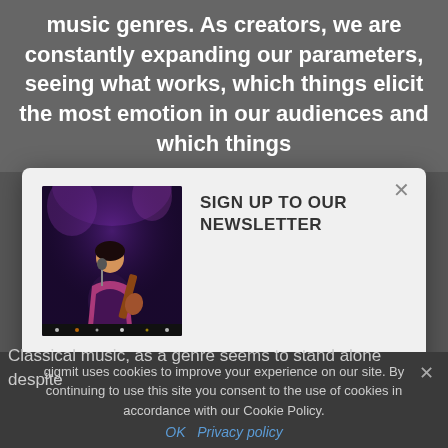music genres. As creators, we are constantly expanding our parameters, seeing what works, which things elicit the most emotion in our audiences and which things
[Figure (screenshot): Newsletter signup modal with a concert photo on the left showing a performer with guitar on stage with purple lighting, and 'SIGN UP TO OUR NEWSLETTER' heading. Below the image is text 'Receive the latest guide & news posts, booking tipps and new open calls by gigmit' and a green Subscribe button.]
gigmit uses cookies to improve your experience on our site. By continuing to use this site you consent to the use of cookies in accordance with our Cookie Policy.
OK   Privacy policy
Classical music, as a genre seems to stand alone despite